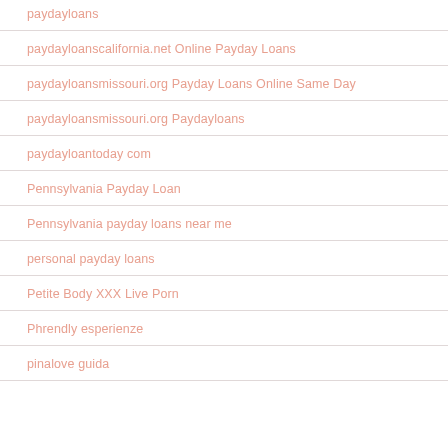paydayloans
paydayloanscalifornia.net Online Payday Loans
paydayloansmissouri.org Payday Loans Online Same Day
paydayloansmissouri.org Paydayloans
paydayloantoday com
Pennsylvania Payday Loan
Pennsylvania payday loans near me
personal payday loans
Petite Body XXX Live Porn
Phrendly esperienze
pinalove guida